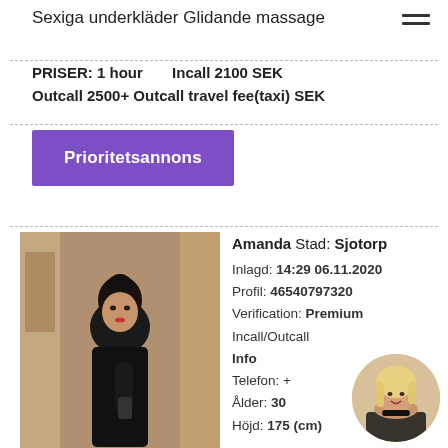Sexiga underkläder Glidande massage
PRISER: 1 hour    Incall 2100 SEK
Outcall 2500+ Outcall travel fee(taxi) SEK
Prioritetsannons
[Figure (photo): Profile photo of Amanda, a dark-haired woman in black dress taking a mirror selfie]
Amanda Stad: Sjotorp
Inlagd: 14:29 06.11.2020
Profil: 46540797320
Verification: Premium
Incall/Outcall
Info
Telefon: +
Ålder: 30
Höjd: 175 (cm)
[Figure (photo): Circular profile thumbnail of a blonde woman]